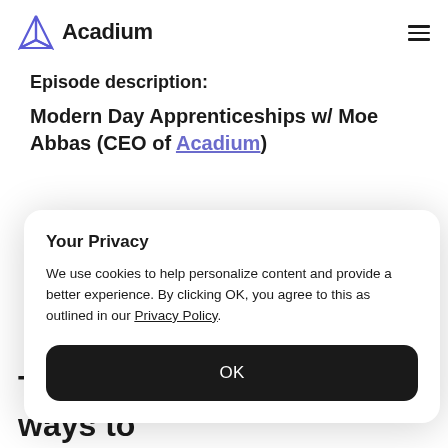Acadium
Episode description:
Modern Day Apprenticeships w/ Moe Abbas (CEO of Acadium)
Your Privacy
We use cookies to help personalize content and provide a better experience. By clicking OK, you agree to this as outlined in our Privacy Policy.
OK
The need for alternative ways to